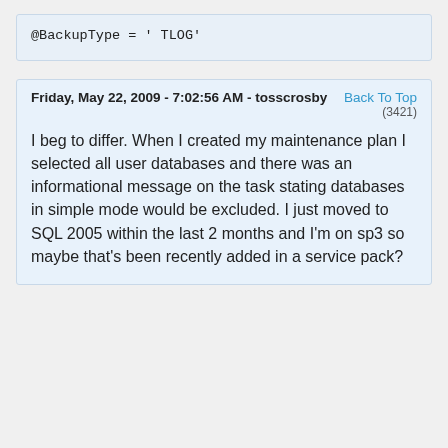@BackupType = ' TLOG'
Friday, May 22, 2009 - 7:02:56 AM - tosscrosby
Back To Top (3421)
I beg to differ. When I created my maintenance plan I selected all user databases and there was an informational message on the task stating databases in simple mode would be excluded. I just moved to SQL 2005 within the last 2 months and I'm on sp3 so maybe that's been recently added in a service pack?